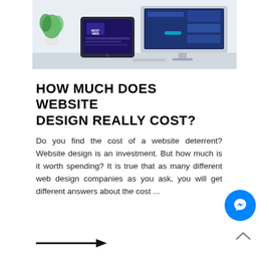[Figure (photo): Photo of web design setup showing a tablet and monitor displaying website designs on a desk with a plant]
HOW MUCH DOES WEBSITE DESIGN REALLY COST?
Do you find the cost of a website deterrent? Website design is an investment. But how much is it worth spending? It is true that as many different web design companies as you ask, you will get different answers about the cost ...
[Figure (illustration): Black arrow pointing right]